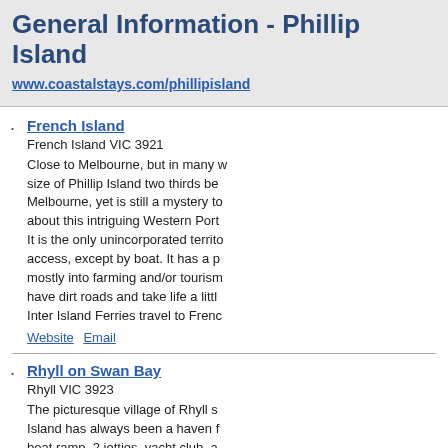General Information - Phillip Island
www.coastalstays.com/phillipisland
French Island
French Island VIC 3921
Close to Melbourne, but in many ways size of Phillip Island two thirds be Melbourne, yet is still a mystery to about this intriguing Western Port It is the only unincorporated territo access, except by boat. It has a p mostly into farming and/or tourism have dirt roads and take life a littl Inter Island Ferries travel to Frenc
Website  Email
Rhyll on Swan Bay
Rhyll VIC 3923
The picturesque village of Rhyll s Island has always been a haven f boat ramp, 2 jetties, yacht club, a much sought after holiday destina Complimenting the quality accom